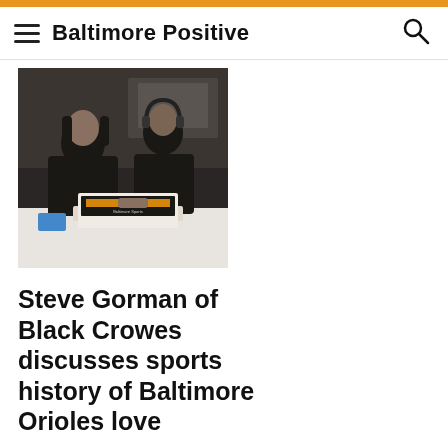Baltimore Positive
[Figure (photo): Two men sitting at a table with a WNST laptop, one wearing headphones, in what appears to be a hotel or restaurant setting]
Steve Gorman of Black Crowes discusses sports history of Baltimore Orioles love
Lots of folks don't know drummer Steve Gorman of Black Crowes grew up in